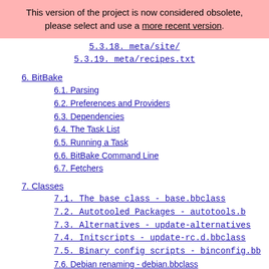This version of the project is now considered obsolete, please select and use a more recent version.
5.3.18. meta/site/
5.3.19. meta/recipes.txt
6. BitBake
6.1. Parsing
6.2. Preferences and Providers
6.3. Dependencies
6.4. The Task List
6.5. Running a Task
6.6. BitBake Command Line
6.7. Fetchers
7. Classes
7.1. The base class - base.bbclass
7.2. Autotooled Packages - autotools.bb
7.3. Alternatives - update-alternatives
7.4. Initscripts - update-rc.d.bbclass
7.5. Binary config scripts - binconfig.bb
7.6. Debian renaming - debian.bbclass
7.7. Pkg-config - pkgconfig.bbclass
7.8. Distribution of sources - src distri
7.9. Perl modules - cpan.bbclass